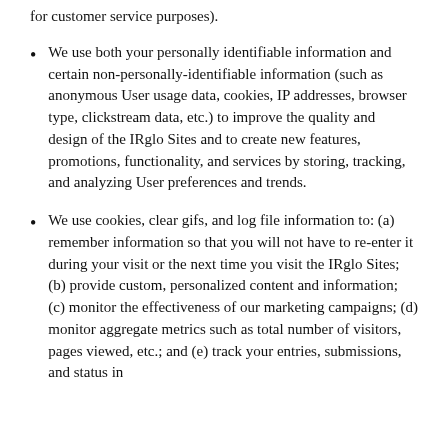for customer service purposes).
We use both your personally identifiable information and certain non-personally-identifiable information (such as anonymous User usage data, cookies, IP addresses, browser type, clickstream data, etc.) to improve the quality and design of the IRglo Sites and to create new features, promotions, functionality, and services by storing, tracking, and analyzing User preferences and trends.
We use cookies, clear gifs, and log file information to: (a) remember information so that you will not have to re-enter it during your visit or the next time you visit the IRglo Sites; (b) provide custom, personalized content and information; (c) monitor the effectiveness of our marketing campaigns; (d) monitor aggregate metrics such as total number of visitors, pages viewed, etc.; and (e) track your entries, submissions, and status in